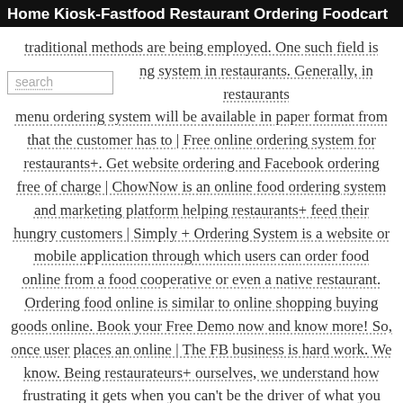Home  Kiosk-Fastfood  Restaurant Ordering  Foodcart
traditional methods are being employed. One such field is ng system in restaurants. Generally, in restaurants menu ordering system will be available in paper format from that the customer has to | Free online ordering system for restaurants+. Get website ordering and Facebook ordering free of charge | ChowNow is an online food ordering system and marketing platform helping restaurants+ feed their hungry customers | Simply + Ordering System is a website or mobile application through which users can order food online from a food cooperative or even a native restaurant. Ordering food online is similar to online shopping buying goods online. Book your Free Demo now and know more! So, once user places an online | The FB business is hard work. We know. Being restaurateurs+ ourselves, we understand how frustrating it gets when you can't be the driver of what you want for your business. It's why we built a solution that's all